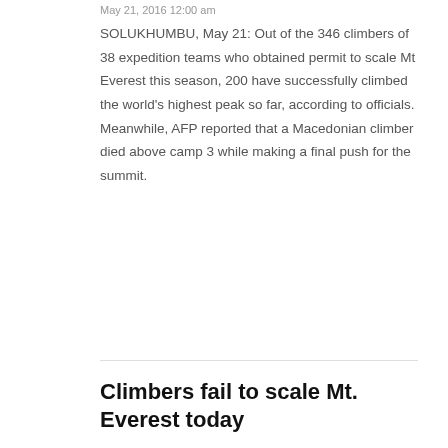May 21, 2016 12:00 am
SOLUKHUMBU, May 21: Out of the 346 climbers of 38 expedition teams who obtained permit to scale Mt Everest this season, 200 have successfully climbed the world's highest peak so far, according to officials. Meanwhile, AFP reported that a Macedonian climber died above camp 3 while making a final push for the summit.
Climbers fail to scale Mt. Everest today